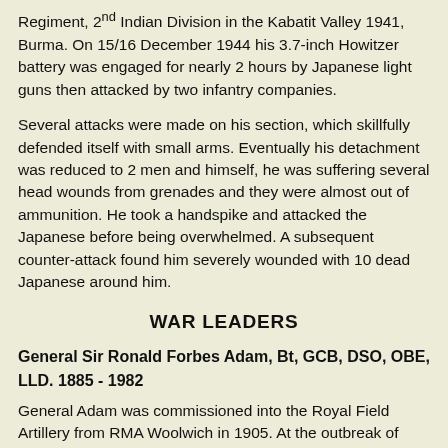Regiment, 2nd Indian Division in the Kabatit Valley 1941, Burma. On 15/16 December 1944 his 3.7-inch Howitzer battery was engaged for nearly 2 hours by Japanese light guns then attacked by two infantry companies.
Several attacks were made on his section, which skillfully defended itself with small arms. Eventually his detachment was reduced to 2 men and himself, he was suffering several head wounds from grenades and they were almost out of ammunition. He took a handspike and attacked the Japanese before being overwhelmed. A subsequent counter-attack found him severely wounded with 10 dead Japanese around him.
WAR LEADERS
General Sir Ronald Forbes Adam, Bt, GCB, DSO, OBE, LLD. 1885 - 1982
General Adam was commissioned into the Royal Field Artillery from RMA Woolwich in 1905. At the outbreak of WW1 he was serving in India with N (The Eagle Troop) Battery RHA. He reached the Western Front in 1915, by 1918 he was a major and an artillery staff officer in Italy. Between 1923 and 1936 he was twice an instructor at Staff College and held various staff appointments in the War